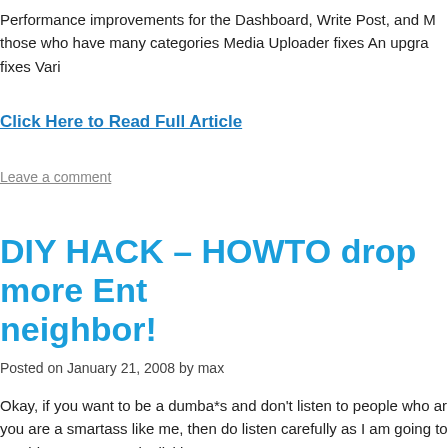Performance improvements for the Dashboard, Write Post, and those who have many categories Media Uploader fixes An upgra... fixes Vari
Click Here to Read Full Article
Leave a comment
DIY HACK – HOWTO drop more Ent... neighbor!
Posted on January 21, 2008 by max
Okay, if you want to be a dumba*s and don't listen to people who ar... you are a smartass like me, then do listen carefully as I am going to... stupid ass “Entrecard” clickin’.
Simply goto SiteHoppin.com and choose “Entrecard” or the topic yo... Entrecard topics as we are still getting drunk but check back later fo...